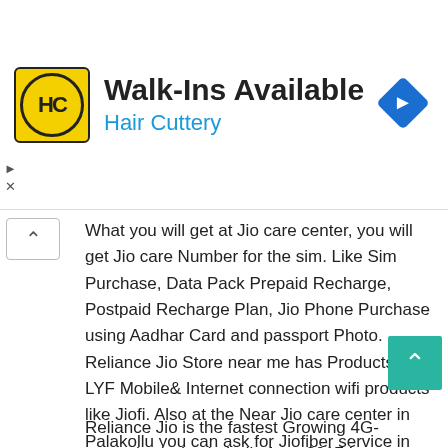[Figure (logo): Hair Cuttery advertisement banner with HC logo, 'Walk-Ins Available' heading, 'Hair Cuttery' subheading in blue, and a blue diamond direction arrow icon on the right]
What you will get at Jio care center, you will get Jio care Number for the sim. Like Sim Purchase, Data Pack Prepaid Recharge, Postpaid Recharge Plan, Jio Phone Purchase using Aadhar Card and passport Photo. Reliance Jio Store near me has Products like LYF Mobile& Internet connection wifi products like Jiofi. Also at the Near Jio care center in Palakollu you can ask for Jiofiber service in Palakollu (Jio fiber Service Palakollu) With DTH reliance Jio service center near me. Jio care center is Open from MON-SUN: 9:30 AM – 6:00 PM. On this page, you will find the Jio Store nearest Details which is far close to your location.
Reliance Jio is the fastest Growing 4G- network service in India from 2017.In upcoming year Reliance